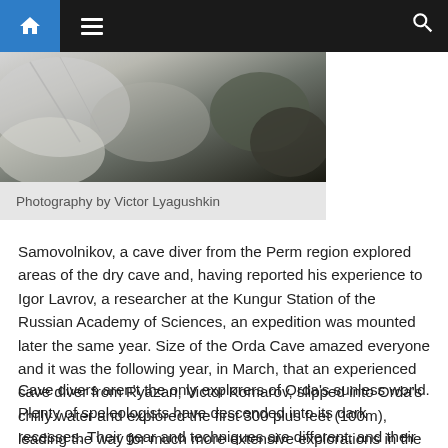Navigation bar with home, menu, and search icons
[Figure (photo): Cave interior showing white limestone rocks and dark rocky formations]
Photography by Victor Lyagushkin
Samovolnikov, a cave diver from the Perm region explored areas of the dry cave and, having reported his experience to Igor Lavrov, a researcher at the Kungur Station of the Russian Academy of Sciences, an expedition was mounted later the same year. Size of the Orda Cave amazed everyone and it was the following year, in March, that an experienced cave diver from Ryazan, Victor Komarov, slipped into Orda's chilly water and explored the first 300 plus feet (100m), leading the way for much more extensive explorations in the years since.
Cave divers aren't the only explorers of Orda's sunless world. Plenty of speleologists have descended into its dark recesses. Their gear and techniques are different, and their agendas, too; but they all return impressed and over the years this collection